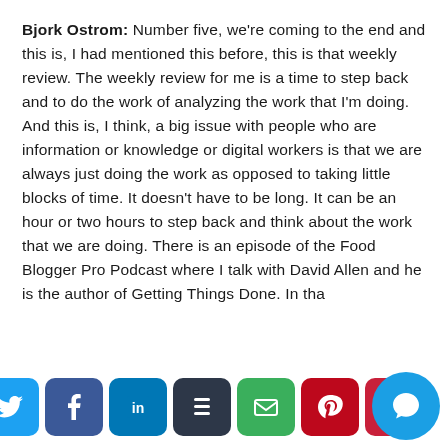Bjork Ostrom: Number five, we're coming to the end and this is, I had mentioned this before, this is that weekly review. The weekly review for me is a time to step back and to do the work of analyzing the work that I'm doing. And this is, I think, a big issue with people who are information or knowledge or digital workers is that we are always just doing the work as opposed to taking little blocks of time. It doesn't have to be long. It can be an hour or two hours to step back and think about the work that we are doing. There is an episode of the Food Blogger Pro Podcast where I talk with David Allen and he is the author of Getting Things Done. In tha…
[Figure (other): Social share bar with buttons: Twitter (blue bird), Facebook (blue f), LinkedIn (blue in), Buffer (dark stack), Email (green envelope), Pinterest (red P), Phone/more (red), and a teal chat bubble overlay]